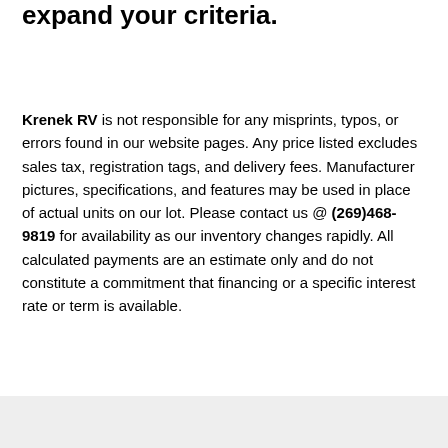expand your criteria.
Krenek RV is not responsible for any misprints, typos, or errors found in our website pages. Any price listed excludes sales tax, registration tags, and delivery fees. Manufacturer pictures, specifications, and features may be used in place of actual units on our lot. Please contact us @ (269)468-9819 for availability as our inventory changes rapidly. All calculated payments are an estimate only and do not constitute a commitment that financing or a specific interest rate or term is available.